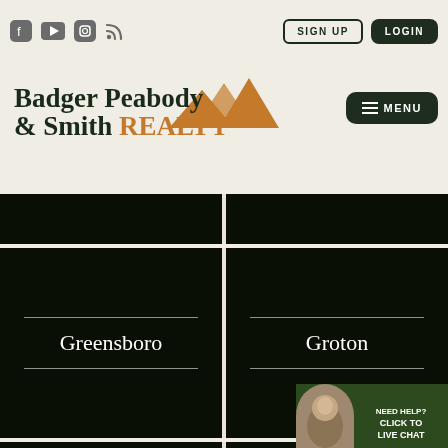Social icons: Facebook, YouTube, Instagram, RSS | SIGN UP | LOGIN
[Figure (logo): Badger Peabody & Smith Realty logo with mountain peak icon in gold/brown and dark green text]
[Figure (screenshot): MENU button with hamburger icon]
[Figure (photo): Dark card row 1 - two dark panels side by side]
Greensboro
Groton
[Figure (screenshot): Live chat widget: NEED HELP? CLICK TO LIVE CHAT with avatar photo]